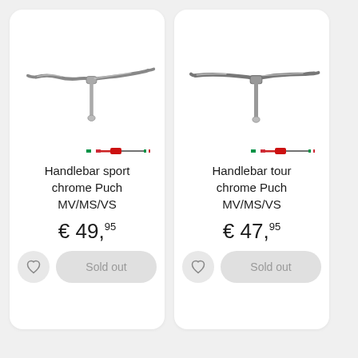[Figure (photo): Chrome sport handlebar for Puch MV/MS/VS moped, T-shaped with swept-back ends, shown from front view]
Handlebar sport chrome Puch MV/MS/VS
€ 49,95
Sold out
[Figure (photo): Chrome tour handlebar for Puch MV/MS/VS moped, T-shaped with wider flat top bar, shown from front view]
Handlebar tour chrome Puch MV/MS/VS
€ 47,95
Sold out